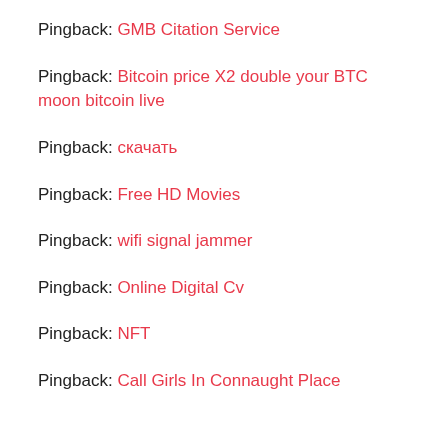Pingback: GMB Citation Service
Pingback: Bitcoin price X2 double your BTC moon bitcoin live
Pingback:
Pingback: Free HD Movies
Pingback: wifi signal jammer
Pingback: Online Digital Cv
Pingback: NFT
Pingback: Call Girls In Connaught Place